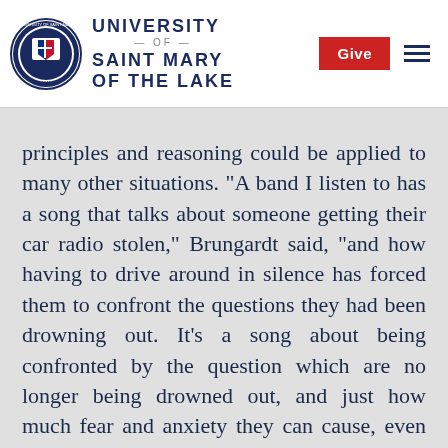University of Saint Mary of the Lake
principles and reasoning could be applied to many other situations. “A band I listen to has a song that talks about someone getting their car radio stolen,” Brungardt said, “and how having to drive around in silence has forced them to confront the questions they had been drowning out. It’s a song about being confronted by the question which are no longer being drowned out, and just how much fear and anxiety they can cause, even to the point of wanting to end it all. It’s not only death that forces us to face reality, sometimes reality